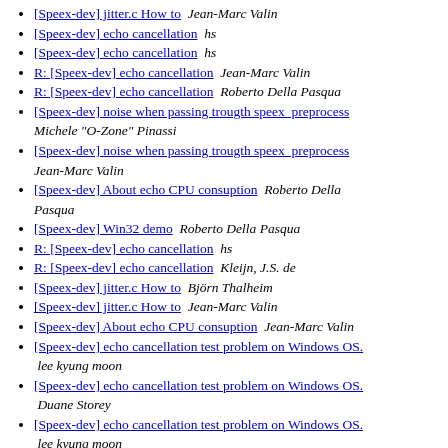[Speex-dev] jitter.c How to  Jean-Marc Valin
[Speex-dev] echo cancellation   hs
[Speex-dev] echo cancellation   hs
R: [Speex-dev] echo cancellation   Jean-Marc Valin
R: [Speex-dev] echo cancellation   Roberto Della Pasqua
[Speex-dev] noise when passing trougth speex  preprocess   Michele "O-Zone" Pinassi
[Speex-dev] noise when passing trougth speex  preprocess   Jean-Marc Valin
[Speex-dev] About echo CPU consuption   Roberto Della Pasqua
[Speex-dev] Win32 demo   Roberto Della Pasqua
R: [Speex-dev] echo cancellation   hs
R: [Speex-dev] echo cancellation   Kleijn, J.S. de
[Speex-dev] jitter.c How to   Björn Thalheim
[Speex-dev] jitter.c How to   Jean-Marc Valin
[Speex-dev] About echo CPU consuption   Jean-Marc Valin
[Speex-dev] echo cancellation test problem on Windows OS.   lee kyung moon
[Speex-dev] echo cancellation test problem on Windows OS.   Duane Storey
[Speex-dev] echo cancellation test problem on Windows OS.   lee kyung moon
R: [Speex-dev] echo cancellation   hs
[Speex-dev] help using libspeex in win32   Ashhar Farhan